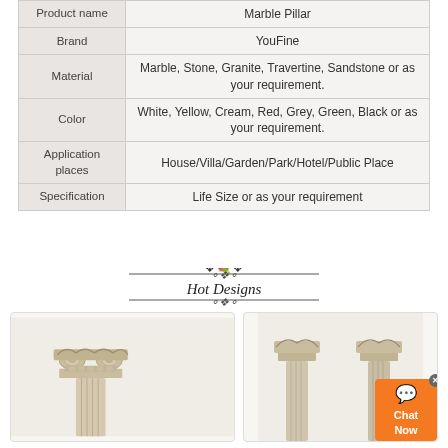| Property | Value |
| --- | --- |
| Product name | Marble Pillar |
| Brand | YouFine |
| Material | Marble, Stone, Granite, Travertine, Sandstone or as your requirement. |
| Color | White, Yellow, Cream, Red, Grey, Green, Black or as your requirement. |
| Application places | House/Villa/Garden/Park/Hotel/Public Place |
| Specification | Life Size or as your requirement |
Hot Designs
[Figure (photo): Ionic marble column capital close-up, stone pillar with scroll ornaments]
[Figure (photo): Two marble pillars with ornate capitals side by side]